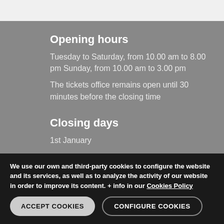Opening hours
Tuesday to Saturday, from 10.00 am to 8.00 pm Sunday, from 10.00 am to 3.00 pm
The tickets office remains open until 30 minutes before the closing time
Closing days
1st January
We use our own and third-party cookies to configure the website and its services, as well as to analyze the activity of our website in order to improve its content. + info in our Cookies Policy